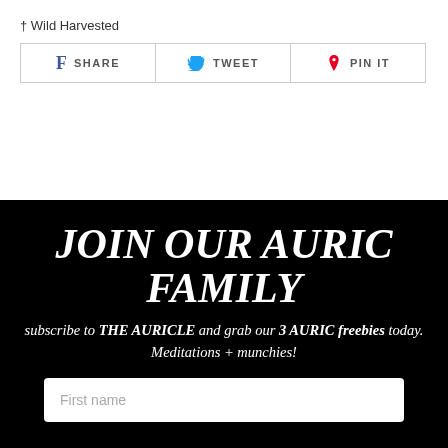† Wild Harvested
[Figure (other): Social sharing buttons: Facebook SHARE, Twitter TWEET, Pinterest PIN IT]
JOIN OUR AURIC FAMILY
subscribe to THE AURICLE and grab our 3 AURIC freebies today. Meditations + munchies!
First name